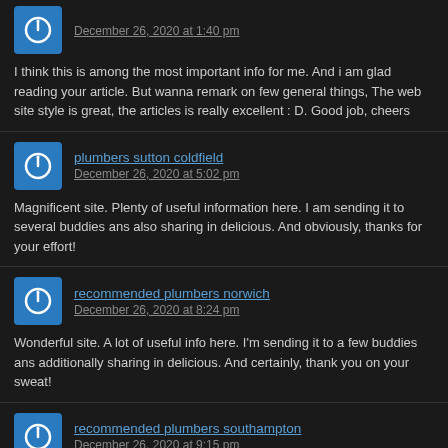December 26, 2020 at 1:40 pm
I think this is among the most important info for me. And i am glad reading your article. But wanna remark on few general things, The web site style is great, the articles is really excellent : D. Good job, cheers
plumbers sutton coldfield
December 26, 2020 at 5:02 pm
Magnificent site. Plenty of useful information here. I am sending it to several buddies ans also sharing in delicious. And obviously, thanks for your effort!
recommended plumbers norwich
December 26, 2020 at 8:24 pm
Wonderful site. A lot of useful info here. I'm sending it to a few buddies ans additionally sharing in delicious. And certainly, thank you on your sweat!
recommended plumbers southampton
December 26, 2020 at 9:15 pm